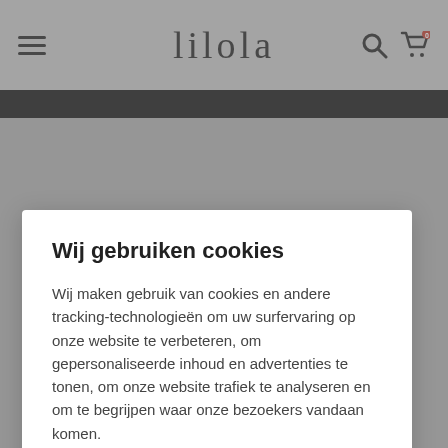lilola
Wij gebruiken cookies
Wij maken gebruik van cookies en andere tracking-technologieën om uw surfervaring op onze website te verbeteren, om gepersonaliseerde inhoud en advertenties te tonen, om onze website trafiek te analyseren en om te begrijpen waar onze bezoekers vandaan komen.
Ik begrijp het